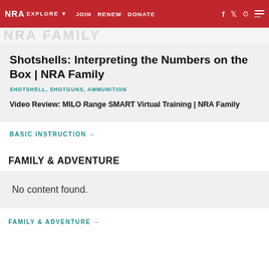NRA EXPLORE ▼  JOIN  RENEW  DONATE  f  Twitter  Instagram
Shotshells: Interpreting the Numbers on the Box | NRA Family
SHOTSHELL, SHOTGUNS, AMMUNITION
Video Review: MILO Range SMART Virtual Training | NRA Family
BASIC INSTRUCTION →
FAMILY & ADVENTURE
No content found.
FAMILY & ADVENTURE →